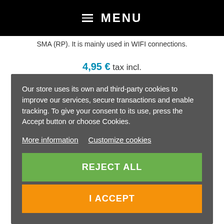≡ MENU
SMA (RP). It is mainly used in WIFI connections.
4,95 € tax incl.
Our store uses its own and third-party cookies to improve our services, secure transactions and enable tracking. To give your consent to its use, press the Accept button or choose Cookies.

More information   Customize cookies

REJECT ALL

I ACCEPT
ADAPTER BNC FEMALE – SMA FEMALE